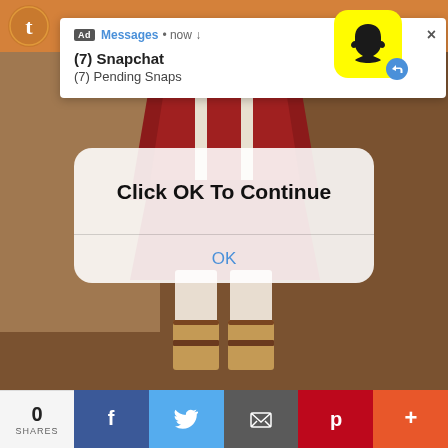[Figure (screenshot): Screenshot of a mobile webpage showing a Snapchat advertisement notification popup, an iOS-style dialog box saying 'Click OK To Continue' with an OK button, an animated character illustration in the background (lower half of a figure in red cape and tan boots), and a social sharing bar at the bottom with 0 shares.]
Ad  Messages • now ↓
(7) Snapchat
(7) Pending Snaps
Click OK To Continue
OK
0
SHARES